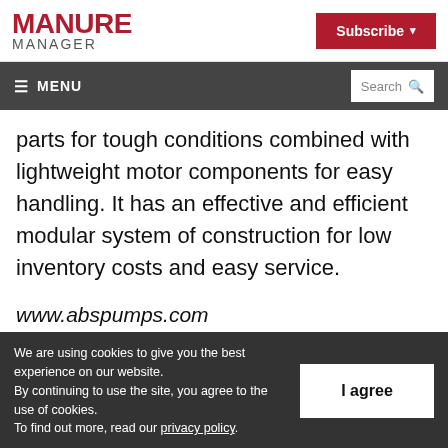MANURE MANAGER | Subscribe
≡ MENU | Search
parts for tough conditions combined with lightweight motor components for easy handling. It has an effective and efficient modular system of construction for low inventory costs and easy service.
www.abspumps.com
We are using cookies to give you the best experience on our website. By continuing to use the site, you agree to the use of cookies. To find out more, read our privacy policy.